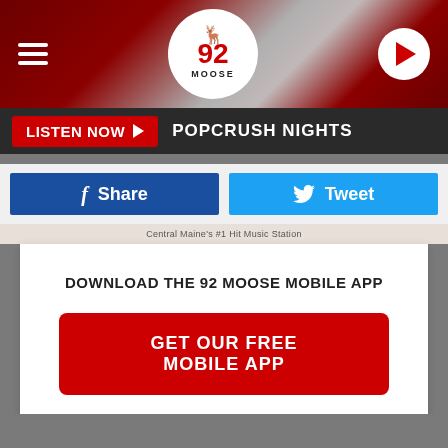[Figure (screenshot): 92 Moose radio station website header with logo, hamburger menu, and play button on dark red/maroon gradient background]
LISTEN NOW  POPCRUSH NIGHTS
Share
Tweet
Central Maine's #1 Hit Music Station
DOWNLOAD THE 92 MOOSE MOBILE APP
GET OUR FREE MOBILE APP
Also listen on:  amazon alexa